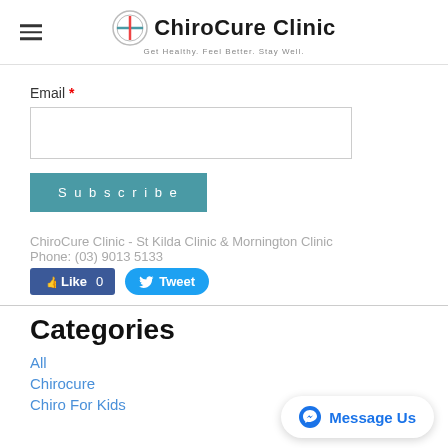ChiroCure Clinic — Get Healthy. Feel Better. Stay Well.
Email *
[Figure (screenshot): Empty email input text field with border]
[Figure (screenshot): Subscribe button (teal/blue-green background, white text)]
ChiroCure Clinic - St Kilda Clinic & Mornington Clinic
Phone: (03) 9013 5133
[Figure (screenshot): Facebook Like button showing 0 and Twitter Tweet button]
Categories
All
Chirocure
Chiro For Kids
[Figure (screenshot): Messenger 'Message Us' floating button bottom right]